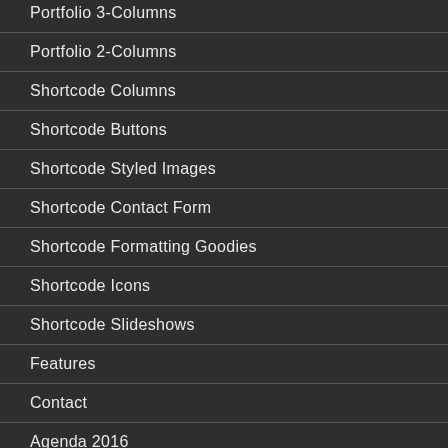Portfolio 3-Columns
Portfolio 2-Columns
Shortcode Columns
Shortcode Buttons
Shortcode Styled Images
Shortcode Contact Form
Shortcode Formatting Goodies
Shortcode Icons
Shortcode Slideshows
Features
Contact
Agenda 2016